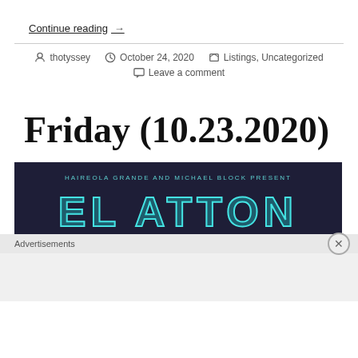Continue reading  →
thotyssey  October 24, 2020  Listings, Uncategorized  Leave a comment
Friday (10.23.2020)
[Figure (photo): Dark background image with teal/cyan neon lettering reading 'HAIREOLA GRANDE AND MICHAEL BLOCK PRESENT' above large neon-style letters spelling out what appears to be 'EL ATTON']
Advertisements